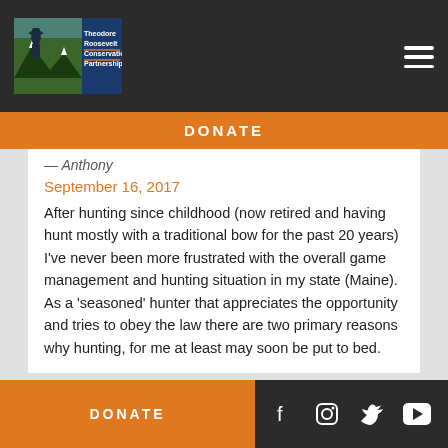[Figure (logo): Theodore Roosevelt Conservation Partnership logo with mountain/hunter silhouette graphic and text]
DONATE
— Anthony
September 16, 2017
After hunting since childhood (now retired and having hunt mostly with a traditional bow for the past 20 years) I've never been more frustrated with the overall game management and hunting situation in my state (Maine). As a 'seasoned' hunter that appreciates the opportunity and tries to obey the law there are two primary reasons why hunting, for me at least may soon be put to bed.
DONATE
[Figure (other): Social media icons: Facebook, Instagram, Twitter, YouTube]